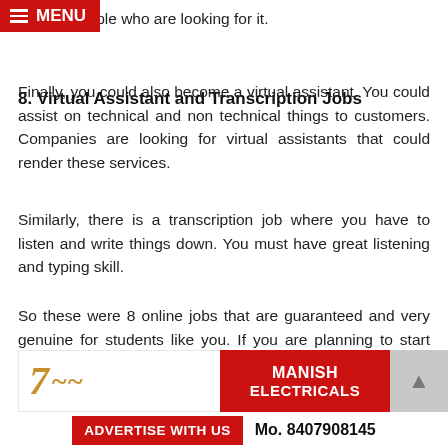MENU
offer to people who are looking for it.
8. Virtual Assistant and Transcription Jobs
Finally, you could also become a virtual assistant. You could assist on technical and non technical things to customers. Companies are looking for virtual assistants that could render these services.
Similarly, there is a transcription job where you have to listen and write things down. You must have great listening and typing skill.
So these were 8 online jobs that are guaranteed and very genuine for students like you. If you are planning to start one of the online job then you need to shortlist something you like so that you can focus more.
ADVERTISEMENT
[Figure (photo): Advertisement banner showing '7' logo in gold and 'MANISH ELECTRICALS' text on red background]
ADVERTISE WITH US   Mo. 8407908145